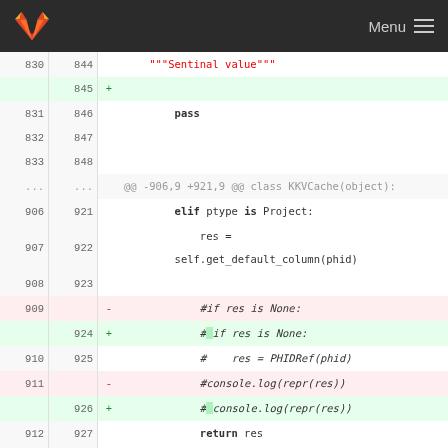GitLab Menu
[Figure (screenshot): GitLab code diff view showing changes to Python file with line numbers, additions (green) and deletions (red), covering lines 830-929 and a hunk header for -952,7 +967,7]